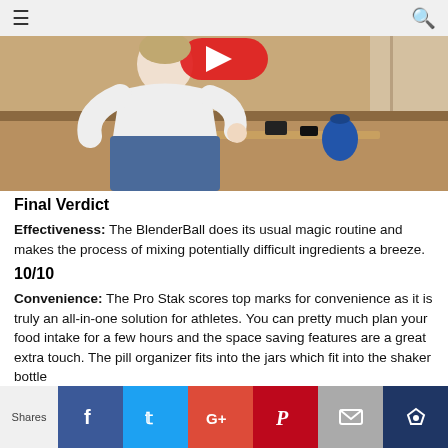≡   🔍
[Figure (photo): Person sitting on a couch holding something, with items on a wooden coffee table including what appears to be a blue blender ball shaker bottle]
Final Verdict
Effectiveness: The BlenderBall does its usual magic routine and makes the process of mixing potentially difficult ingredients a breeze.
10/10
Convenience: The Pro Stak scores top marks for convenience as it is truly an all-in-one solution for athletes. You can pretty much plan your food intake for a few hours and the space saving features are a great extra touch. The pill organizer fits into the jars which fit into the shaker bottle
Shares | f | t | G+ | P | mail | crown